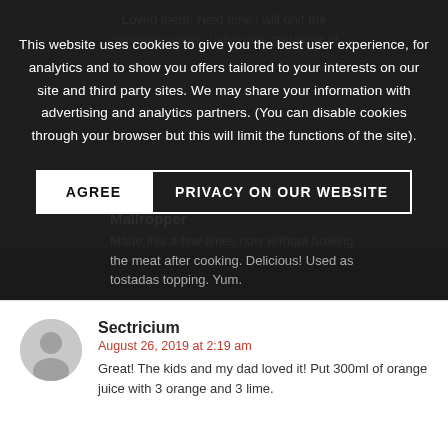This website uses cookies to give you the best user experience, for analytics and to show you offers tailored to your interests on our site and third party sites. We may share your information with advertising and analytics partners. (You can disable cookies through your browser but this will limit the functions of the site).
AGREE
PRIVACY ON OUR WEBSITE
Made this a few times now without broiling the meat after cooking. Delicious! Used as tostadas topping. Yum.
Sectricium
August 26, 2019 at 2:19 am
Great! The kids and my dad loved it! Put 300ml of orange juice with 3 orange and 3 lime.